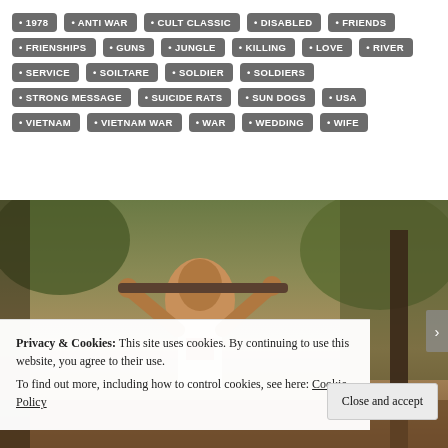1978 • ANTI WAR • CULT CLASSIC • DISABLED • FRIENDS • FRIENSHIPS • GUNS • JUNGLE • KILLING • LOVE • RIVER • SERVICE • SOILTARE • SOLDIER • SOLDIERS • STRONG MESSAGE • SUICIDE RATS • SUN DOGS • USA • VIETNAM • VIETNAM WAR • WAR • WEDDING • WIFE
[Figure (photo): Movie still showing a person in distress, appearing to be chained, in a jungle/outdoor setting. Film still with muted, warm tones.]
Privacy & Cookies: This site uses cookies. By continuing to use this website, you agree to their use.
To find out more, including how to control cookies, see here: Cookie Policy
Close and accept